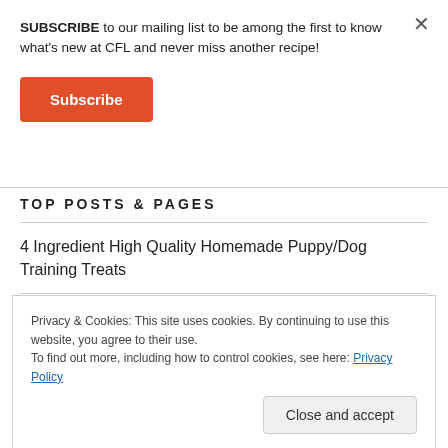SUBSCRIBE to our mailing list to be among the first to know what's new at CFL and never miss another recipe!
Subscribe
TOP POSTS & PAGES
4 Ingredient High Quality Homemade Puppy/Dog Training Treats
Privacy & Cookies: This site uses cookies. By continuing to use this website, you agree to their use.
To find out more, including how to control cookies, see here: Privacy Policy
Close and accept
Homemade Gluten-Free Dog Treats (3-Ingredient)